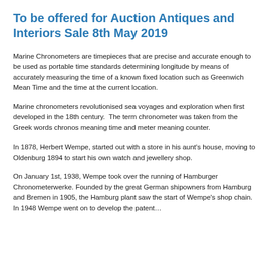To be offered for Auction Antiques and Interiors Sale 8th May 2019
Marine Chronometers are timepieces that are precise and accurate enough to be used as portable time standards determining longitude by means of accurately measuring the time of a known fixed location such as Greenwich Mean Time and the time at the current location.
Marine chronometers revolutionised sea voyages and exploration when first developed in the 18th century.  The term chronometer was taken from the Greek words chronos meaning time and meter meaning counter.
In 1878, Herbert Wempe, started out with a store in his aunt's house, moving to Oldenburg 1894 to start his own watch and jewellery shop.
On January 1st, 1938, Wempe took over the running of Hamburger Chronometerwerke. Founded by the great German shipowners from Hamburg and Bremen in 1905, the Hamburg plant saw the start of Wempe's shop chain. In 1948 Wempe went on to develop the patent…